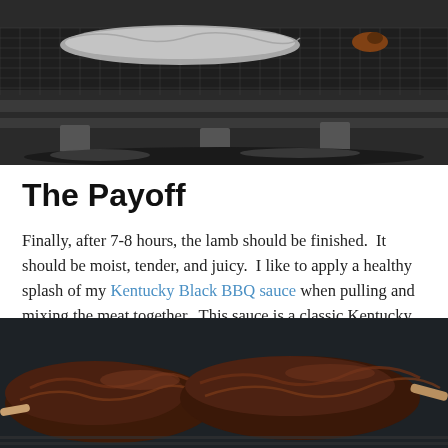[Figure (photo): Lamb on a smoker grill with foil wrapping, viewed from the side showing grill grates and charcoal/wood underneath]
The Payoff
Finally, after 7-8 hours, the lamb should be finished.  It should be moist, tender, and juicy.  I like to apply a healthy splash of my Kentucky Black BBQ sauce when pulling and mixing the meat together.  This sauce is a classic Kentucky Style sauce.  It pairs excellently with the tangy meat of the lamb.
[Figure (photo): Cooked smoked lamb on a dark smoker grill, showing browned and darkened meat with bones visible]